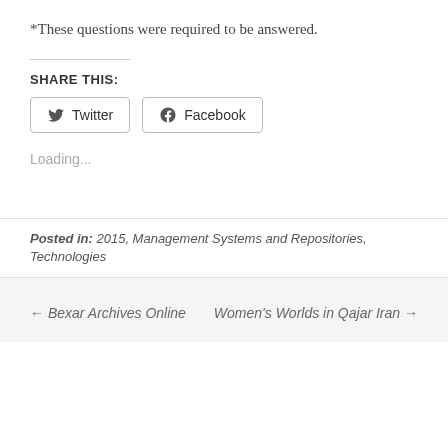*These questions were required to be answered.
SHARE THIS:
[Figure (other): Share buttons for Twitter and Facebook]
Loading...
Posted in: 2015, Management Systems and Repositories, Technologies
← Bexar Archives Online    Women's Worlds in Qajar Iran →